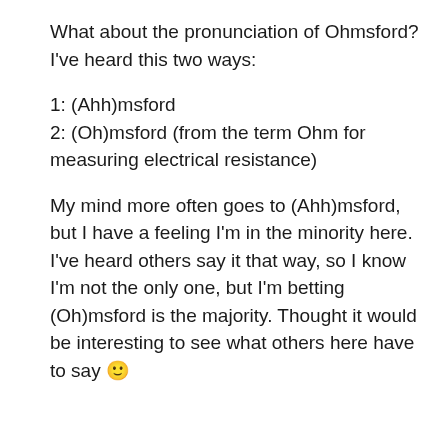What about the pronunciation of Ohmsford? I've heard this two ways:
1: (Ahh)msford
2: (Oh)msford (from the term Ohm for measuring electrical resistance)
My mind more often goes to (Ahh)msford, but I have a feeling I'm in the minority here. I've heard others say it that way, so I know I'm not the only one, but I'm betting (Oh)msford is the majority. Thought it would be interesting to see what others here have to say 🙂